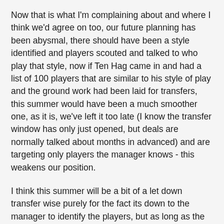Now that is what I'm complaining about and where I think we'd agree on too, our future planning has been abysmal, there should have been a style identified and players scouted and talked to who play that style, now if Ten Hag came in and had a list of 100 players that are similar to his style of play and the ground work had been laid for transfers, this summer would have been a much smoother one, as it is, we've left it too late (I know the transfer window has only just opened, but deals are normally talked about months in advanced) and are targeting only players the manager knows - this weakens our position.
I think this summer will be a bit of a let down transfer wise purely for the fact its down to the manager to identify the players, but as long as the powers that be at the club get their act together and start planning three or four windows in advanced, we'll be in a very strong position in the near future, I just have my doubts about the competency at United, this is where my negativity stems from - though I wouldn't say I'm a